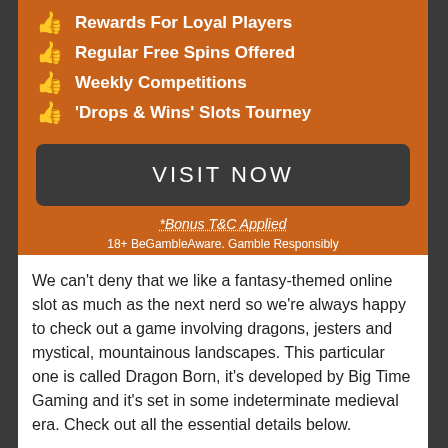Rewards For Loyal Players
Regular Free Spins Offered
Weekly Competitions
'Drops & Wins' Slots Tourney
VISIT NOW
*Bonus T&C Applied
18+ BeGambleAware. Gamble Responsibly
We can't deny that we like a fantasy-themed online slot as much as the next nerd so we're always happy to check out a game involving dragons, jesters and mystical, mountainous landscapes. This particular one is called Dragon Born, it's developed by Big Time Gaming and it's set in some indeterminate medieval era. Check out all the essential details below.
Dragon Born is a six reel slot with up to seven rows and an almost unbelievable 117649 ways to win (we'll explain how
[Figure (illustration): Dragon illustration with yellow/orange tones on brown background]